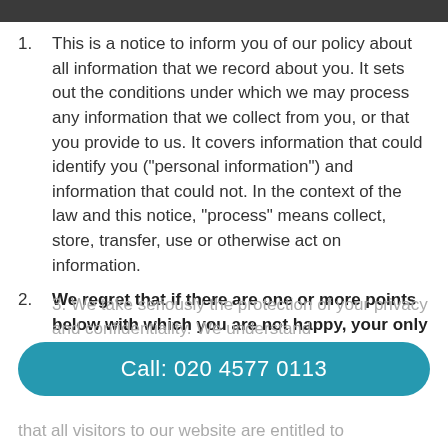This is a notice to inform you of our policy about all information that we record about you. It sets out the conditions under which we may process any information that we collect from you, or that you provide to us. It covers information that could identify you ("personal information") and information that could not. In the context of the law and this notice, "process" means collect, store, transfer, use or otherwise act on information.
We regret that if there are one or more points below with which you are not happy, your only recourse is to not use our services and leave our website immediately.
We take seriously the protection of your privacy and confidentiality. We understand that all visitors to our website are entitled to
Call: 020 4577 0113